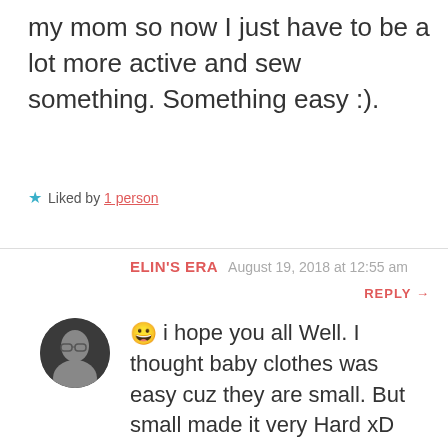my mom so now I just have to be a lot more active and sew something. Something easy :).
★ Liked by 1 person
ELIN'S ERA   August 19, 2018 at 12:55 am
REPLY →
😀 i hope you all Well. I thought baby clothes was easy cuz they are small. But small made it very Hard xD